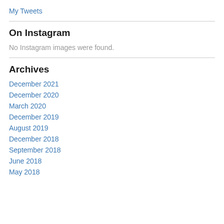My Tweets
On Instagram
No Instagram images were found.
Archives
December 2021
December 2020
March 2020
December 2019
August 2019
December 2018
September 2018
June 2018
May 2018